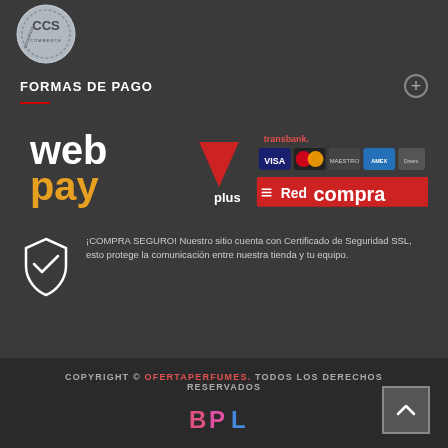[Figure (logo): CCS Confianza Commerce circular silver logo badge]
FORMAS DE PAGO
[Figure (logo): Webpay Plus logo with Transbank, Visa, MasterCard, Maestro, American Express, Diners Club, and Red Compra payment logos]
¡COMPRA SEGURO! Nuestro sitio cuenta con Certificado de Seguridad SSL, esto protege la comunicación entre nuestra tienda y tu equipo.
COPYRIGHT © OFERTAPERFUMES. TODOS LOS DERECHOS RESERVADOS
[Figure (logo): BPL logo in pink and blue]